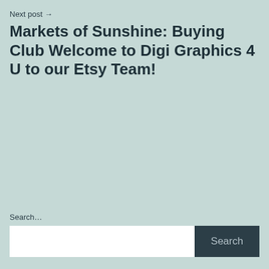Next post →
Markets of Sunshine: Buying Club Welcome to Digi Graphics 4 U to our Etsy Team!
Search…